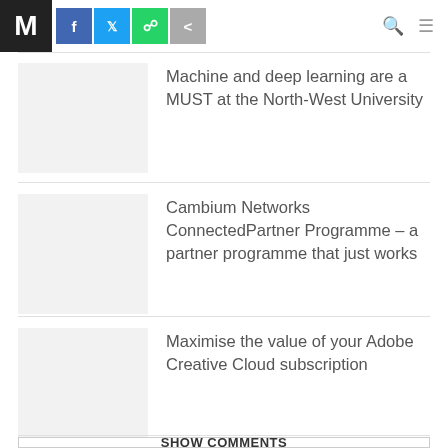M [logo] | f | Twitter | WhatsApp | Share | Search | Menu
Machine and deep learning are a MUST at the North-West University
[Figure (photo): Thumbnail image placeholder (light gray rectangle)]
Cambium Networks ConnectedPartner Programme – a partner programme that just works
[Figure (photo): Thumbnail image placeholder (light gray rectangle)]
Maximise the value of your Adobe Creative Cloud subscription
[Figure (photo): Thumbnail image placeholder (light gray rectangle)]
SHOW COMMENTS